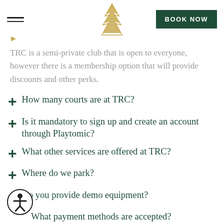BOOK NOW
TRC is a semi-private club that is open to everyone, however there is a membership option that will provide discounts and other perks.
+ How many courts are at TRC?
+ Is it mandatory to sign up and create an account through Playtomic?
+ What other services are offered at TRC?
+ Where do we park?
+ Do you provide demo equipment?
+ What payment methods are accepted?